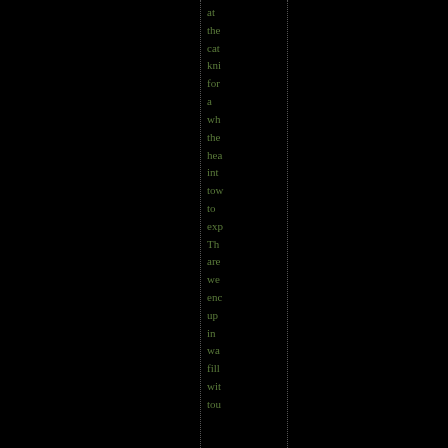at the cat kni for a wh the hea int tow to exp Th are we enc up in wa fill wit tou